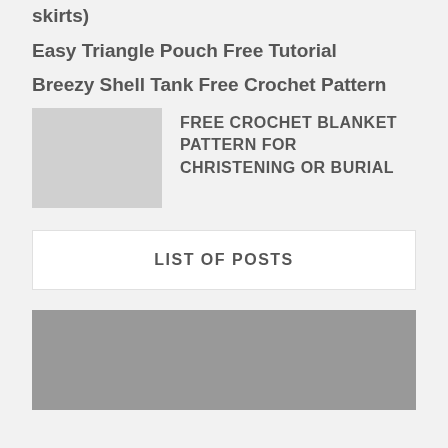The 15 Minute Shirt (re-purposing old shirts into skirts)
Easy Triangle Pouch Free Tutorial
Breezy Shell Tank Free Crochet Pattern
FREE CROCHET BLANKET PATTERN FOR CHRISTENING OR BURIAL
LIST OF POSTS
[Figure (photo): Gray placeholder image at the bottom of the page]